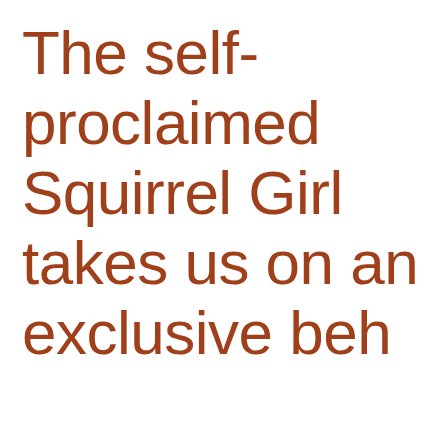The self-proclaimed Squirrel Girl takes us on an exclusive beh